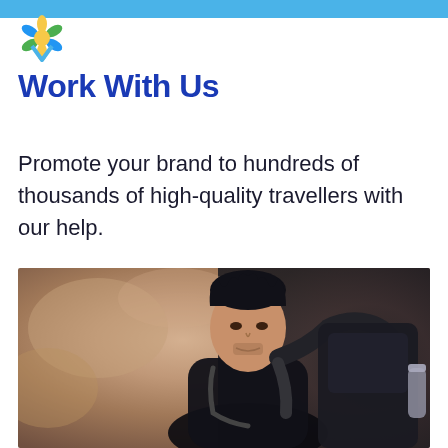[Figure (logo): Travel website logo with flower/sun icon in yellow, green, blue colors]
Work With Us
Promote your brand to hundreds of thousands of high-quality travellers with our help.
[Figure (photo): A male traveller with dark spiky hair, wearing a black shirt and carrying a large backpack with camera gear, photographed against a blurred rocky/orange background]